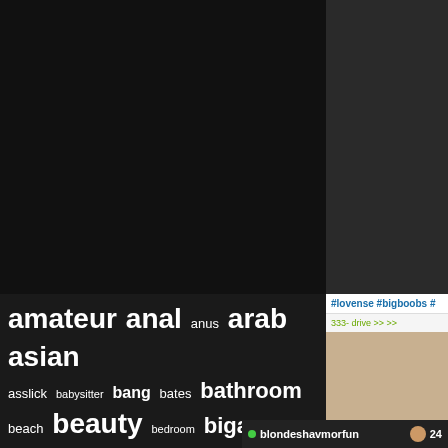[Figure (screenshot): Dark/black video player area taking up the upper two-thirds of the page, split into left main area and right sidebar]
amateur anal anus arab asian asslick babysitter bang bates bathroom beach beauty bedroom bigass bigdick black blond blowjob booty shake bottle boyfriend british brunette brushbate bukkake busty car chubby classmate closeup college couple creampie cuckold cumshot cunnili
[Figure (screenshot): Sidebar panel showing #lovense #bigboobs hashtags, drive text, and thumbnail image]
#lovense #bigboobs #
333- drive
blondeshavmorfun
24